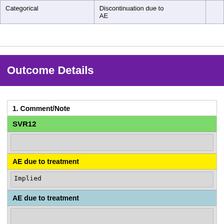|  |  |
| --- | --- |
| Categorical | Discontinuation due to AE |
Outcome Details
| 1. Comment/Note |  |
| --- | --- |
| SVR12 |  |
|  |  |
| AE due to treatment |  |
| Implied |  |
| AE due to treatment |  |
|  |  |
| Discontinuation due to AE |  |